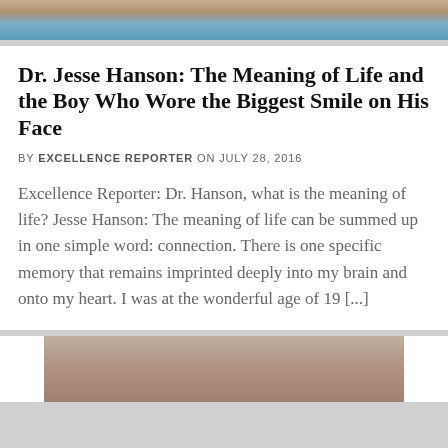[Figure (photo): Cropped top of a person wearing a light blue shirt, photo cut off at the top of the page]
Dr. Jesse Hanson: The Meaning of Life and the Boy Who Wore the Biggest Smile on His Face
BY EXCELLENCE REPORTER ON JULY 28, 2016
Excellence Reporter: Dr. Hanson, what is the meaning of life? Jesse Hanson: The meaning of life can be summed up in one simple word: connection. There is one specific memory that remains imprinted deeply into my brain and onto my heart. I was at the wonderful age of 19 [...]
[Figure (photo): Top portion of a person's head and face with brown hair, cropped photo at the bottom of the page]